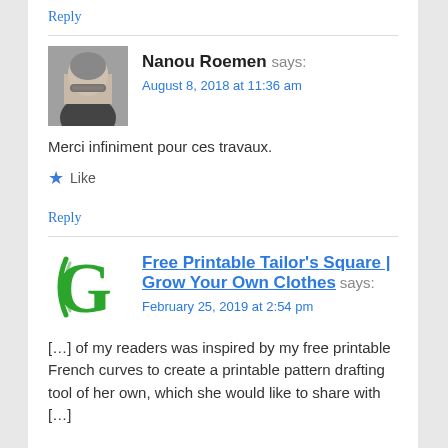Reply
Nanou Roemen says:
August 8, 2018 at 11:36 am
Merci infiniment pour ces travaux.
★ Like
Reply
Free Printable Tailor's Square | Grow Your Own Clothes says:
February 25, 2019 at 2:54 pm
[…] of my readers was inspired by my free printable French curves to create a printable pattern drafting tool of her own, which she would like to share with […]